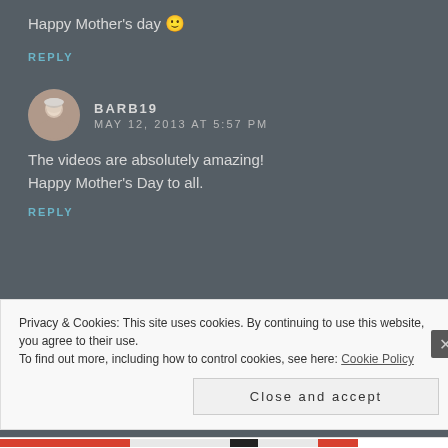Happy Mother's day 🙂
REPLY
[Figure (photo): Circular avatar photo of a woman with light hair, older adult]
BARB19 MAY 12, 2013 AT 5:57 PM
The videos are absolutely amazing! Happy Mother's Day to all.
REPLY
Privacy & Cookies: This site uses cookies. By continuing to use this website, you agree to their use. To find out more, including how to control cookies, see here: Cookie Policy
Close and accept